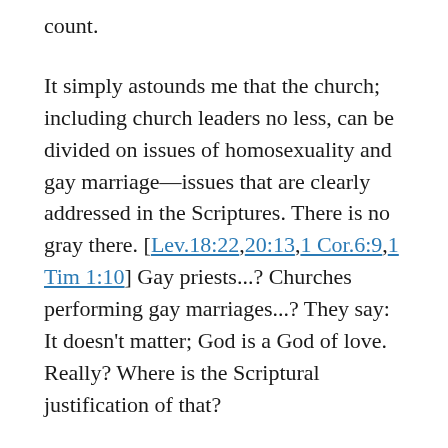count.
It simply astounds me that the church; including church leaders no less, can be divided on issues of homosexuality and gay marriage—issues that are clearly addressed in the Scriptures. There is no gray there. [Lev.18:22,20:13,1 Cor.6:9,1 Tim 1:10] Gay priests...? Churches performing gay marriages...? They say: It doesn't matter; God is a God of love. Really? Where is the Scriptural justification of that?
Another important consideration that involves the influence of the postmodern movement in the church is the denial of authority. This is